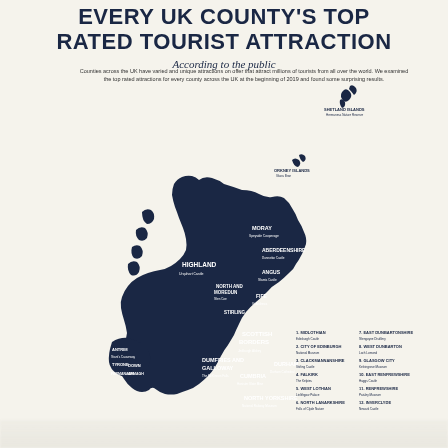EVERY UK COUNTY'S TOP RATED TOURIST ATTRACTION
According to the public
Counties across the UK have varied and unique attractions on offer that attract millions of tourists from all over the world. We examined the top rated attractions for every county across the UK at the beginning of 2019 and found some surprising results.
[Figure (map): Map of the UK (Scotland visible with labeled counties including Highland, Moray, Aberdeenshire, Scottish Borders, Dumfries and Galloway, Cumbria, North Yorkshire, Durham, and others) showing top-rated tourist attractions per county. Labels include county names and attraction names. A numbered legend lists counties on the right side.]